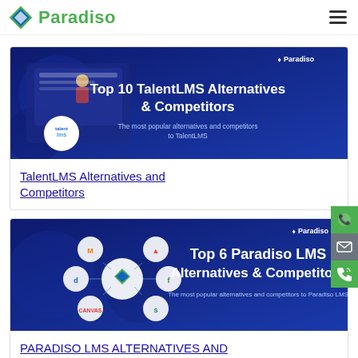Paradiso
[Figure (illustration): Banner for TalentLMS Alternatives and Competitors article — dark blue background with a person at a laptop, TalentLMS logo circle on left, bold white text: Top 10 TalentLMS Alternatives & Competitors, subtitle: The most popular alternatives and competitors to TalentLMS, Paradiso logo top right]
TalentLMS Alternatives and Competitors
[Figure (illustration): Banner for Paradiso LMS Alternatives and Competitors article — dark blue background with connected LMS logos (Moodle, Articulate, Docebo, Paradiso, Canvas, Docebo, etc.) on left, bold white text: Top 6 Paradiso LMS Alternatives & Competitors, subtitle: The most popular alternatives and competitors to Paradiso LMS, Paradiso logo top right]
PARADISO LMS ALTERNATIVES AND COMPETITORS